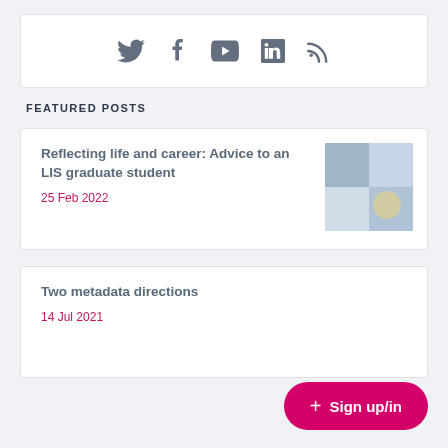[Figure (other): Social media icons bar: Twitter, Facebook, YouTube, LinkedIn, RSS feed icons in gray]
FEATURED POSTS
Reflecting life and career: Advice to an LIS graduate student
25 Feb 2022
[Figure (photo): Thumbnail image for the featured post about LIS graduate student advice]
Two metadata directions
14 Jul 2021
+ Sign up/in